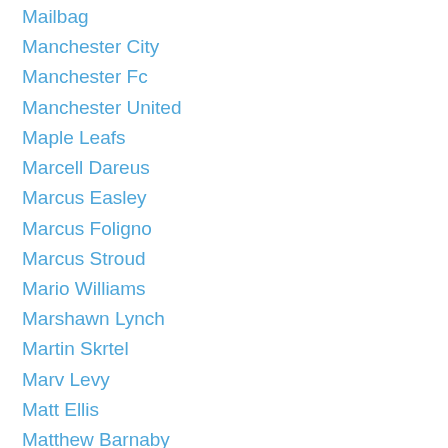Mailbag
Manchester City
Manchester Fc
Manchester United
Maple Leafs
Marcell Dareus
Marcus Easley
Marcus Foligno
Marcus Stroud
Mario Williams
Marshawn Lynch
Martin Skrtel
Marv Levy
Matt Ellis
Matthew Barnaby
Matt Moulson
McFadden's NYC
Mean
@Mechaphil
Media Access